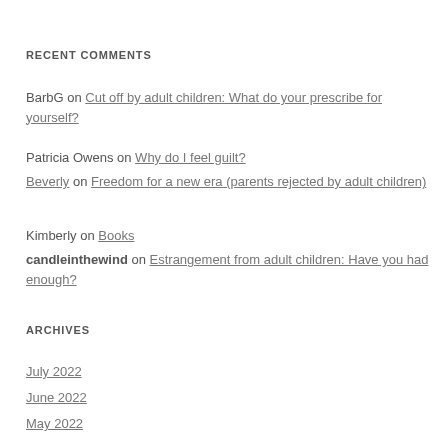RECENT COMMENTS
BarbG on Cut off by adult children: What do your prescribe for yourself?
Patricia Owens on Why do I feel guilt?
Beverly on Freedom for a new era (parents rejected by adult children)
Kimberly on Books
candleinthewind on Estrangement from adult children: Have you had enough?
ARCHIVES
July 2022
June 2022
May 2022